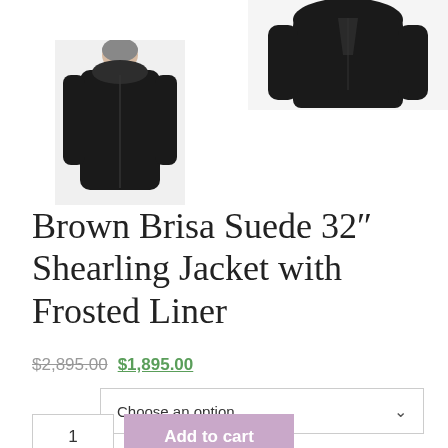[Figure (photo): Black shearling jacket product photo cropped at top, viewed from side/back]
[Figure (photo): Thumbnail of brown/black shearling jacket worn by model, full-length side view]
Brown Brisa Suede 32" Shearling Jacket with Frosted Liner
$2,895.00 $1,895.00
Choose an option
1  Add to cart